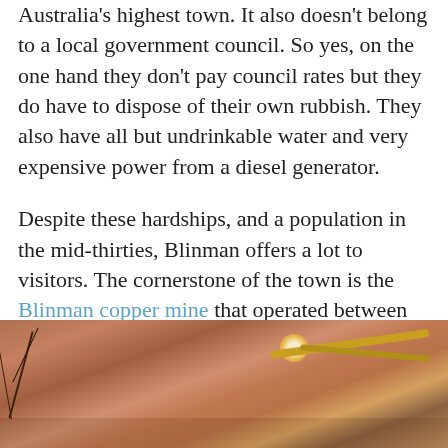Australia's highest town. It also doesn't belong to a local government council. So yes, on the one hand they don't pay council rates but they do have to dispose of their own rubbish. They also have all but undrinkable water and very expensive power from a diesel generator.

Despite these hardships, and a population in the mid-thirties, Blinman offers a lot to visitors. The cornerstone of the town is the Blinman copper mine that operated between 1862 and 1907.
[Figure (photo): Close-up photo of rocky copper mine surface with cracks, orange-brown stone texture, a glowing light source, and yellow-green vine or cable across the rock face.]